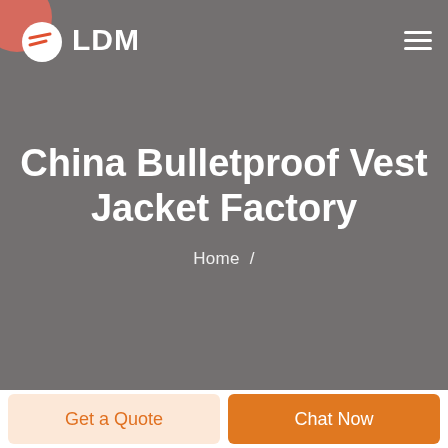[Figure (logo): LDM logo with white blob icon containing red lines, white text LDM, on grey background, with hamburger menu icon on the right]
China Bulletproof Vest Jacket Factory
Home /
Get a Quote
Chat Now